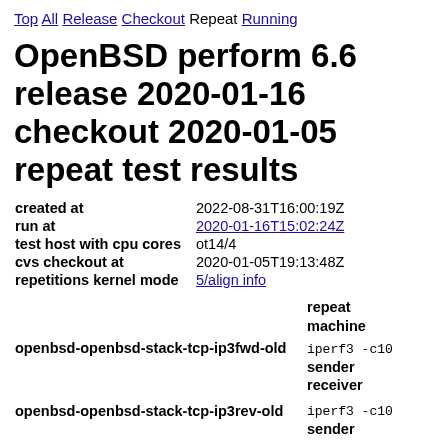Top All Release Checkout Repeat Running
OpenBSD perform 6.6 release 2020-01-16 checkout 2020-01-05 repeat test results
| field | value |
| --- | --- |
| created at | 2022-08-31T16:00:19Z |
| run at | 2020-01-16T15:02:24Z |
| test host with cpu cores | ot14/4 |
| cvs checkout at | 2020-01-05T19:13:48Z |
| repetitions kernel mode | 5/align info |
| test | repeat machine |
| --- | --- |
| openbsd-openbsd-stack-tcp-ip3fwd-old | iperf3 -c10 |
|  | sender |
|  | receiver |
| openbsd-openbsd-stack-tcp-ip3rev-old | iperf3 -c10 |
|  | sender |